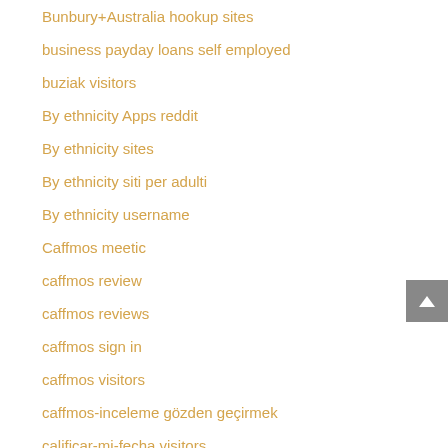Bunbury+Australia hookup sites
business payday loans self employed
buziak visitors
By ethnicity Apps reddit
By ethnicity sites
By ethnicity siti per adulti
By ethnicity username
Caffmos meetic
caffmos review
caffmos reviews
caffmos sign in
caffmos visitors
caffmos-inceleme gözden geçirmek
calificar-mi-fecha visitors
california-anaheim-dating review